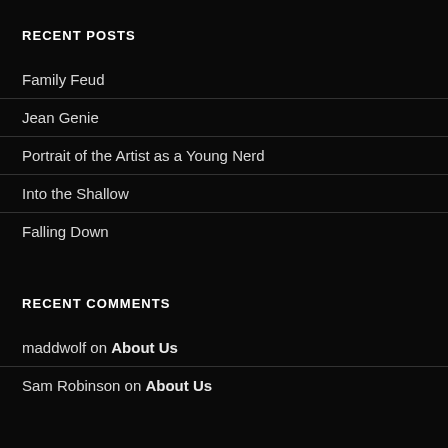RECENT POSTS
Family Feud
Jean Genie
Portrait of the Artist as a Young Nerd
Into the Shallow
Falling Down
RECENT COMMENTS
maddwolf on About Us
Sam Robinson on About Us